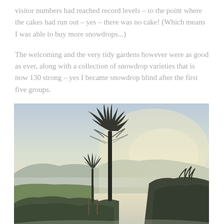visitor numbers had reached record levels – to the point where the cakes had run out – yes – there was no cake! (Which means I was able to buy more snowdrops...)
The welcoming and the very tidy gardens however were as good as ever, along with a collection of snowdrop varieties that is now 130 strong – yes I became snowdrop blind after the first five groups.
[Figure (photo): Outdoor landscape photo showing a bare tree silhouetted against a pale, misty sky at dusk or dawn. Rolling hills in the background, dense shrubs and hedgerows in the foreground, green field visible to the left.]